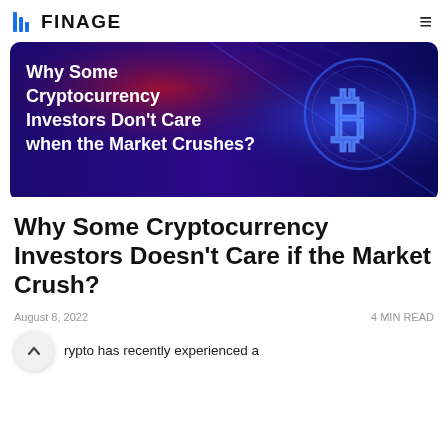FINAGE
[Figure (illustration): Hero banner image with dark blue/purple background and red accent. Text overlay in white bold: 'Why Some Cryptocurrency Investors Don't Care when the Market Crushes?' with a glowing Bitcoin symbol on the right.]
Why Some Cryptocurrency Investors Doesn't Care if the Market Crush?
August 8, 2022    4 MIN READ
Crypto has recently experienced a